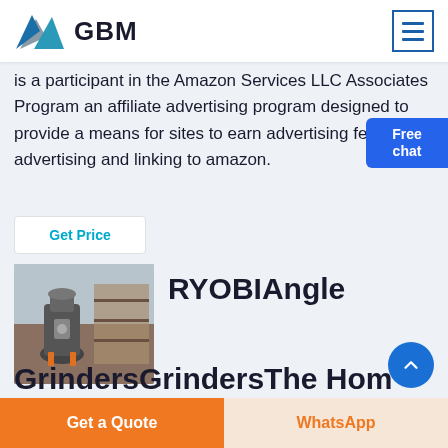[Figure (logo): GBM logo with triangular mountain graphic in blue and grey, bold GBM text]
is a participant in the Amazon Services LLC Associates Program an affiliate advertising program designed to provide a means for sites to earn advertising fees by advertising and linking to amazon.
[Figure (illustration): Free chat widget with a person image and blue bubble saying Free chat]
Get Price
[Figure (photo): Industrial grinder machine in a warehouse/factory setting]
RYOBIAngle
GrindersGrindersThe Hom
Get a Quote
WhatsApp